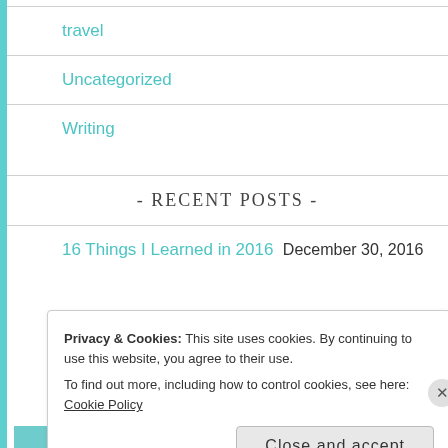travel
Uncategorized
Writing
- Recent Posts -
16 Things I Learned in 2016  December 30, 2016
Privacy & Cookies: This site uses cookies. By continuing to use this website, you agree to their use. To find out more, including how to control cookies, see here: Cookie Policy
Close and accept